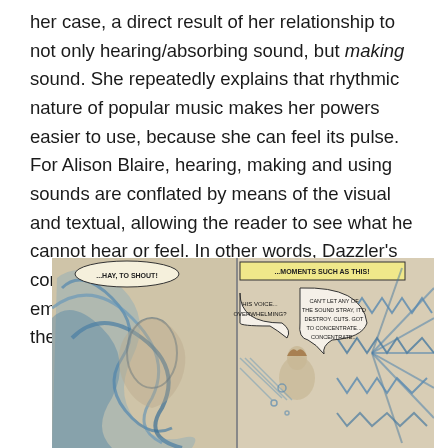her case, a direct result of her relationship to not only hearing/absorbing sound, but making sound. She repeatedly explains that rhythmic nature of popular music makes her powers easier to use, because she can feel its pulse. For Alison Blaire, hearing, making and using sounds are conflated by means of the visual and textual, allowing the reader to see what he cannot hear or feel. In other words, Dazzler's conceit is most successful when it evokes an empathic connection between the reader and the imagined sounds.
[Figure (illustration): A comic book panel showing a figure (Dazzler/Alison Blaire) amid swirling sound waves and energy effects, depicted in blue and tan tones. Speech bubbles read: '...HAY, TO SHOUT!', '...MOMENTS SUCH AS THIS!', 'HIS VOICE... OVERWHELMING?', 'CAN'T LET ANY OF THE SOUND STRAY, IT'D DESTROY CUTS. GOT TO CONCENTRATE... CONCENTRATE...']